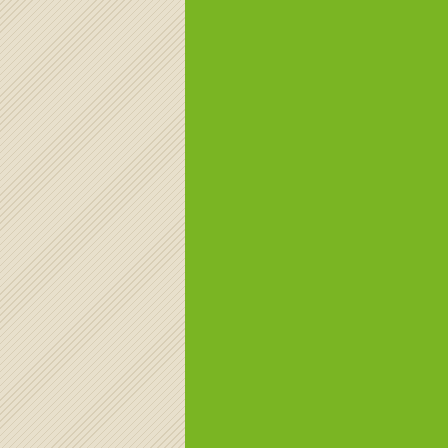critical th...
Em: 22/01...
critical thin... [url="https... critical thin...
Dagorirm...
Em: 22/01...
zithromaxi...
what is cr...
Em: 22/01...
critical thin... [url="https... what is cri...